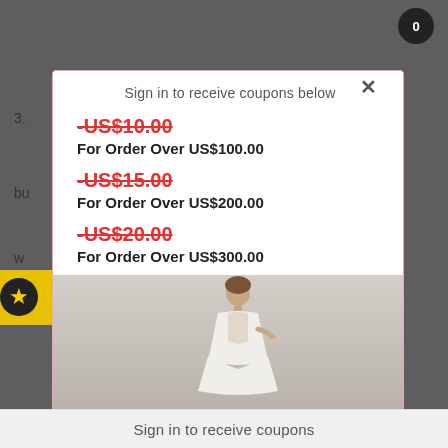[Figure (screenshot): E-commerce website popup modal showing coupon offers for signing in. Background shows a dimmed webpage. Modal has a pink heart-decorated border, a close X button, header text, three coupon tiers, and a woman in a wedding dress photo at the bottom. A sign-in button appears at the very bottom.]
Sign in to receive coupons below
-US$10.00
For Order Over US$100.00
-US$15.00
For Order Over US$200.00
-US$20.00
For Order Over US$300.00
Sign in to receive coupons